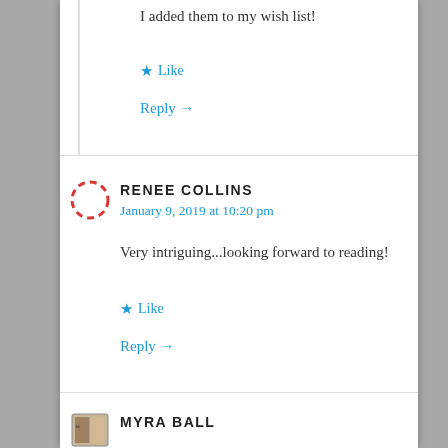I added them to my wish list!
Like
Reply →
RENEE COLLINS
January 9, 2019 at 10:20 pm
Very intriguing...looking forward to reading!
Like
Reply →
MYRA BALL